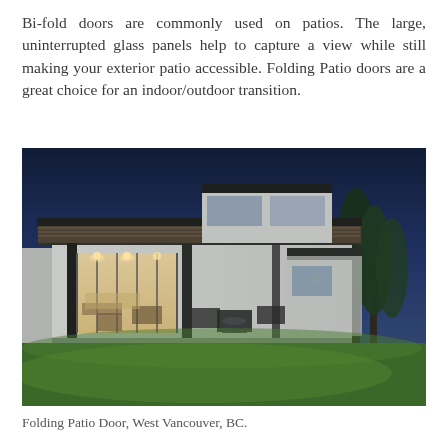Bi-fold doors are commonly used on patios. The large, uninterrupted glass panels help to capture a view while still making your exterior patio accessible. Folding Patio doors are a great choice for an indoor/outdoor transition.
[Figure (photo): Nighttime exterior photo of a modern house with a covered patio, open bi-fold/folding glass doors revealing a living room interior, outdoor furniture on a patio deck, and a lush green lawn in the foreground. Trees visible on the right, dark blue evening sky.]
Folding Patio Door, West Vancouver, BC.